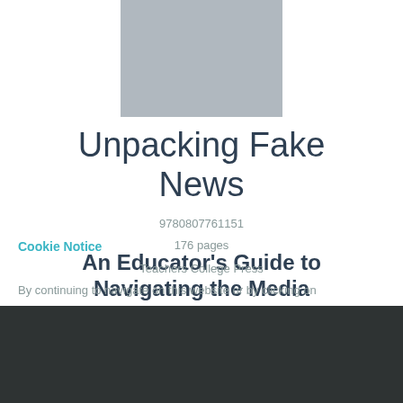[Figure (illustration): Gray rectangular placeholder image for book cover]
Unpacking Fake News
An Educator's Guide to Navigating the Media with Students
Wayne Journell Rebecca Klein Jeremy Stoddard
9780807761151
176 pages
Cookie Notice
By continuing to navigate on this website or by clicking on
Teachers College Press